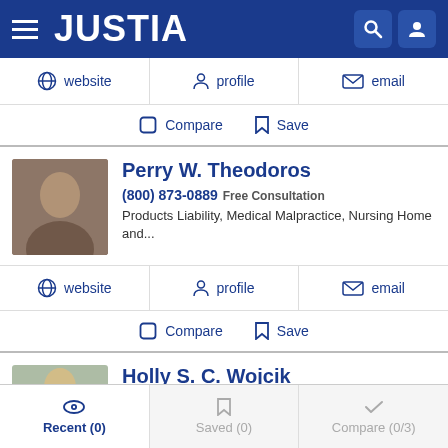JUSTIA
website  profile  email
Compare  Save
Perry W. Theodoros
(800) 873-0889 Free Consultation
Products Liability, Medical Malpractice, Nursing Home and...
website  profile  email
Compare  Save
Holly S. C. Wojcik
(800) 873-0889 Free Consultation
Recent (0)  Saved (0)  Compare (0/3)